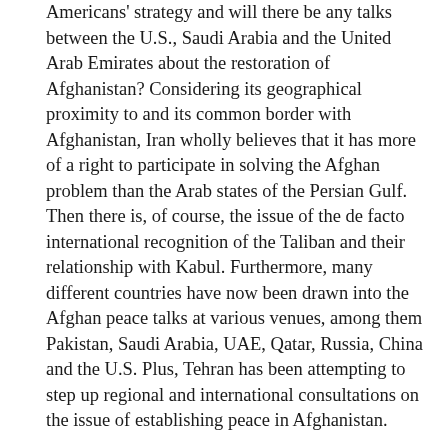Americans' strategy and will there be any talks between the U.S., Saudi Arabia and the United Arab Emirates about the restoration of Afghanistan? Considering its geographical proximity to and its common border with Afghanistan, Iran wholly believes that it has more of a right to participate in solving the Afghan problem than the Arab states of the Persian Gulf. Then there is, of course, the issue of the de facto international recognition of the Taliban and their relationship with Kabul. Furthermore, many different countries have now been drawn into the Afghan peace talks at various venues, among them Pakistan, Saudi Arabia, UAE, Qatar, Russia, China and the U.S. Plus, Tehran has been attempting to step up regional and international consultations on the issue of establishing peace in Afghanistan.
Iran is being haunted by the goal of forming a regional initiative on Afghanistan with the participation of its neighboring countries and influential states, as well as the U.N., in support of intra-Afghan reconciliation. At some point everyone is going to have to get out of the "Afghan labyrinth," but when and how? Washington has made a move toward